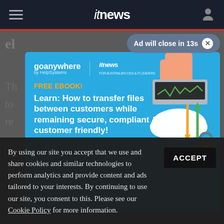itnews
[Figure (screenshot): Advertisement overlay for GoAnywhere by HelpSystems and ITNews. Blue background with FREE EBOOK headline and text: Learn: How to transfer files between customers while remaining secure, compliant & customer friendly! Illustration on right shows hands typing on server/computer with cloud and arrows and padlock icons.]
Ad will close in 13s
By using our site you accept that we use and share cookies and similar technologies to perform analytics and provide content and ads tailored to your interests. By continuing to use our site, you consent to this. Please see our Cookie Policy for more information.